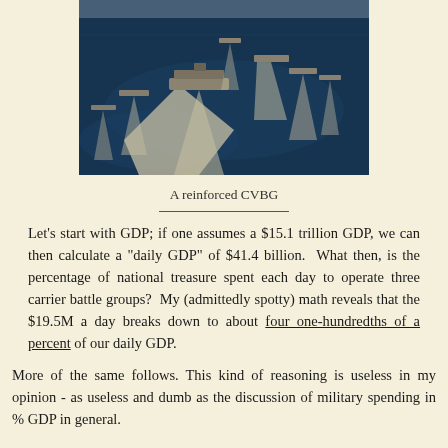[Figure (photo): Aerial photograph of a reinforced Carrier Battle Group (CVBG) with multiple naval vessels sailing in formation on dark blue ocean water, leaving white wakes.]
A reinforced CVBG
Let’s start with GDP; if one assumes a $15.1 trillion GDP, we can then calculate a “daily GDP” of $41.4 billion.  What then, is the percentage of national treasure spent each day to operate three carrier battle groups?  My (admittedly spotty) math reveals that the $19.5M a day breaks down to about four one-hundredths of a percent of our daily GDP.
More of the same follows. This kind of reasoning is useless in my opinion - as useless and dumb as the discussion of military spending in % GDP in general.